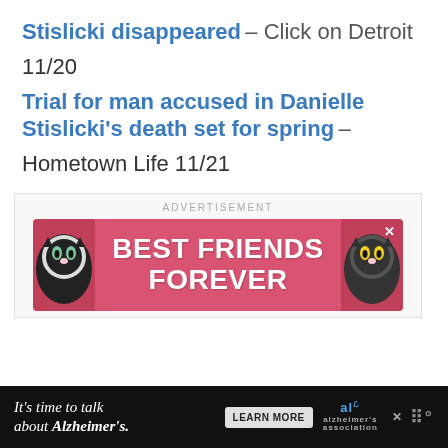Stislicki disappeared – Click on Detroit 11/20
Trial for man accused in Danielle Stislicki's death set for spring – Hometown Life 11/21
[Figure (advertisement): Advertisement banner with two cats and text 'BEST FRIENDS FOREVER']
[Figure (advertisement): Bottom banner ad: It's time to talk about Alzheimer's. with Learn More button and Alzheimer's Association logo]